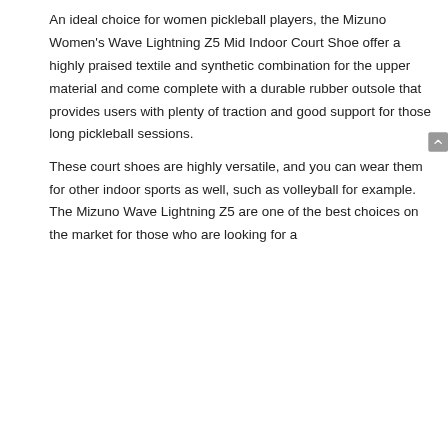An ideal choice for women pickleball players, the Mizuno Women's Wave Lightning Z5 Mid Indoor Court Shoe offer a highly praised textile and synthetic combination for the upper material and come complete with a durable rubber outsole that provides users with plenty of traction and good support for those long pickleball sessions.
These court shoes are highly versatile, and you can wear them for other indoor sports as well, such as volleyball for example. The Mizuno Wave Lightning Z5 are one of the best choices on the market for those who are looking for a